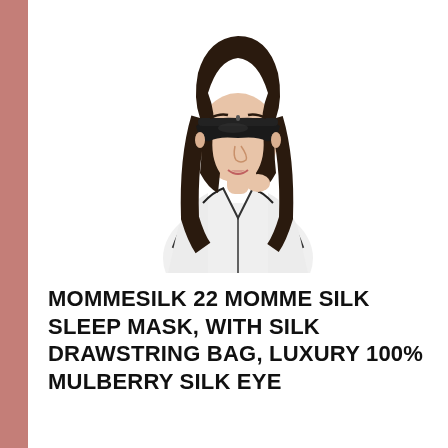[Figure (photo): A young woman wearing a black silk sleep eye mask on her head, dressed in a white silk pajama top with black trim, posing against a white background.]
MOMMESILK 22 MOMME SILK SLEEP MASK, WITH SILK DRAWSTRING BAG, LUXURY 100% MULBERRY SILK EYE